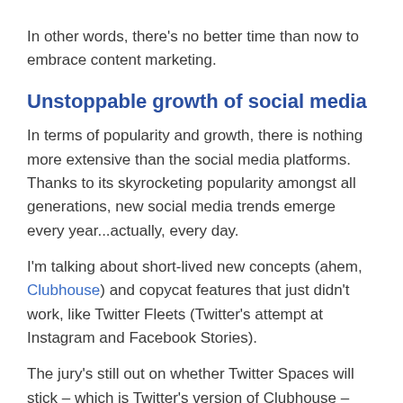In other words, there's no better time than now to embrace content marketing.
Unstoppable growth of social media
In terms of popularity and growth, there is nothing more extensive than the social media platforms. Thanks to its skyrocketing popularity amongst all generations, new social media trends emerge every year...actually, every day.
I'm talking about short-lived new concepts (ahem, Clubhouse) and copycat features that just didn't work, like Twitter Fleets (Twitter's attempt at Instagram and Facebook Stories).
The jury's still out on whether Twitter Spaces will stick – which is Twitter's version of Clubhouse – social audio